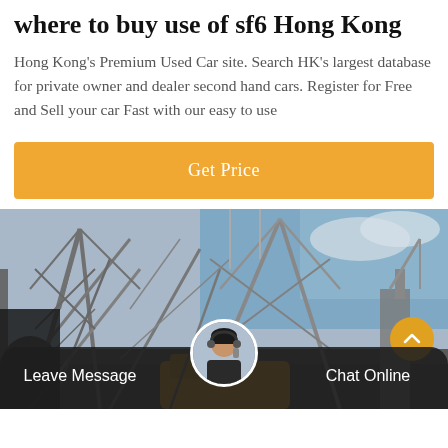where to buy use of sf6 Hong Kong
Hong Kong's Premium Used Car site. Search HK's largest database for private owner and dealer second hand cars. Register for Free and Sell your car Fast with our easy to use
Get Price
[Figure (photo): Outdoor photo showing industrial electrical infrastructure with metal framework structures and towers, with a yellow vehicle visible in the lower area and blue sky in background.]
Leave Message
Chat Online